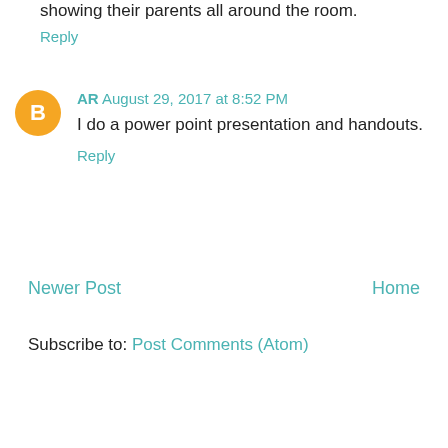showing their parents all around the room.
Reply
AR August 29, 2017 at 8:52 PM
I do a power point presentation and handouts.
Reply
Newer Post
Home
Subscribe to: Post Comments (Atom)